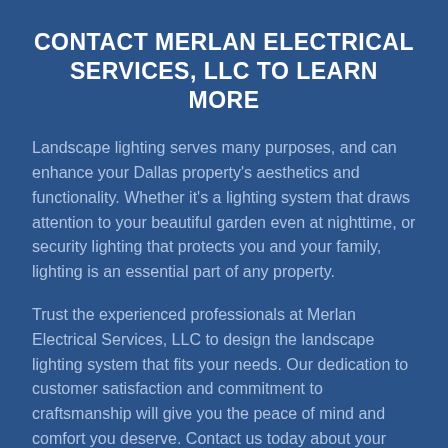CONTACT MERLAN ELECTRICAL SERVICES, LLC TO LEARN MORE
Landscape lighting serves many purposes, and can enhance your Dallas property's aesthetics and functionality. Whether it's a lighting system that draws attention to your beautiful garden even at nighttime, or security lighting that protects you and your family, lighting is an essential part of any property.
Trust the experienced professionals at Merlan Electrical Services, LLC to design the landscape lighting system that fits your needs. Our dedication to customer satisfaction and commitment to craftsmanship will give you the peace of mind and comfort you deserve. Contact us today about your landscape lighting needs, and receive a free quote for our